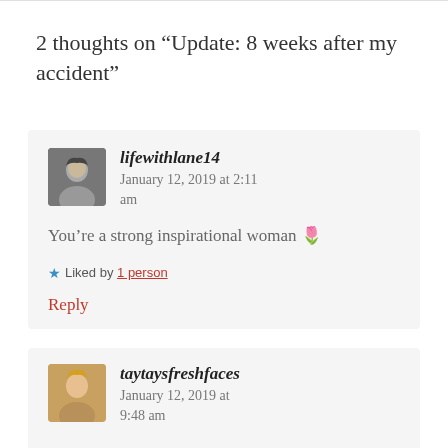2 thoughts on “Update: 8 weeks after my accident”
lifewithlane14  January 12, 2019 at 2:11 am
You’re a strong inspirational woman 🌷
★ Liked by 1 person
Reply
taytaysfreshfaces  January 12, 2019 at 9:48 am